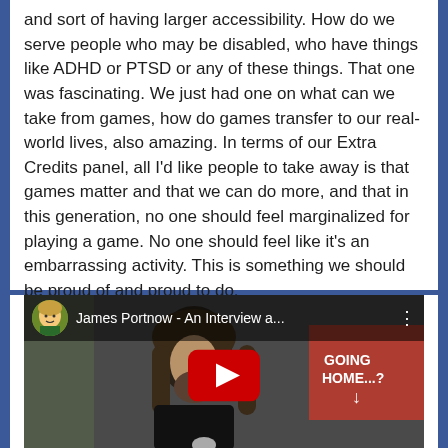and sort of having larger accessibility. How do we serve people who may be disabled, who have things like ADHD or PTSD or any of these things. That one was fascinating. We just had one on what can we take from games, how do games transfer to our real-world lives, also amazing. In terms of our Extra Credits panel, all I'd like people to take away is that games matter and that we can do more, and that in this generation, no one should feel marginalized for playing a game. No one should feel like it's an embarrassing activity. This is something we should be proud of and proud to do.
[Figure (screenshot): YouTube video thumbnail showing James Portnow being interviewed. Title bar reads 'James Portnow - An Interview a...' with an avatar icon. A red YouTube play button is centered. In background a sign reads 'GOING HOME...?' with an arrow.]